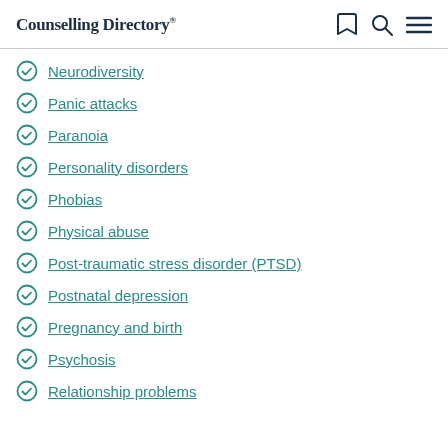Counselling Directory
Neurodiversity
Panic attacks
Paranoia
Personality disorders
Phobias
Physical abuse
Post-traumatic stress disorder (PTSD)
Postnatal depression
Pregnancy and birth
Psychosis
Relationship problems